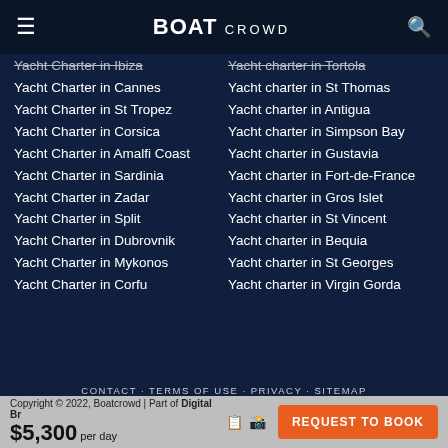BOAT CROWD
Yacht Charter in Ibiza
Yacht Charter in Cannes
Yacht Charter in St Tropez
Yacht Charter in Corsica
Yacht Charter in Amalfi Coast
Yacht Charter in Sardinia
Yacht Charter in Zadar
Yacht Charter in Split
Yacht Charter in Dubrovnik
Yacht Charter in Mykonos
Yacht Charter in Corfu
Yacht charter in Tortola
Yacht charter in St Thomas
Yacht charter in Antigua
Yacht charter in Simpson Bay
Yacht charter in Gustavia
Yacht charter in Fort-de-France
Yacht charter in Gros Islet
Yacht charter in St Vincent
Yacht charter in Bequia
Yacht charter in St Georges
Yacht charter in Virgin Gorda
CONTACT  TERMS OF USE  PRIVACY  SITEMAP  Copyright © 2022, Boatcrowd | Part of Digital Br...  $5,300 per day  REQUEST TO BOOK